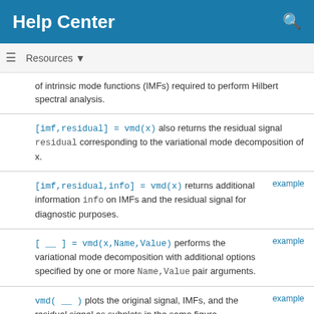Help Center
Resources ▼
of intrinsic mode functions (IMFs) required to perform Hilbert spectral analysis.
[imf,residual] = vmd(x) also returns the residual signal residual corresponding to the variational mode decomposition of x.
[imf,residual,info] = vmd(x) returns additional information info on IMFs and the residual signal for diagnostic purposes.
[ __ ] = vmd(x,Name,Value) performs the variational mode decomposition with additional options specified by one or more Name,Value pair arguments.
vmd( __ ) plots the original signal, IMFs, and the residual signal as subplots in the same figure.
Examples